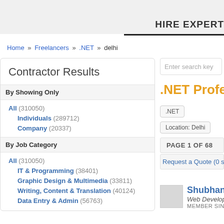HIRE EXPERT
Home » Freelancers » .NET » delhi
Contractor Results
By Showing Only
All (310050)
Individuals (289712)
Company (20337)
By Job Category
All (310050)
IT & Programming (38401)
Graphic Design & Multimedia (33811)
Writing, Content & Translation (40124)
Data Entry & Admin (56763)
.NET Profes
.NET   Location: Delhi
PAGE 1 OF 68
Request a Quote (0 se
Shubhang
Web Developm
MEMBER SINC